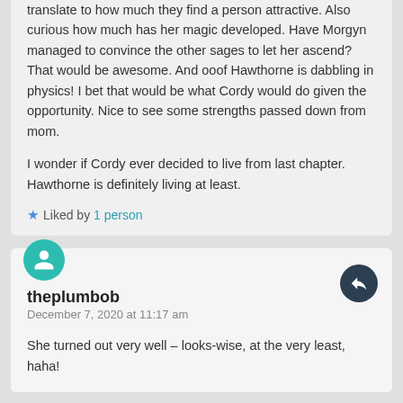translate to how much they find a person attractive. Also curious how much has her magic developed. Have Morgyn managed to convince the other sages to let her ascend? That would be awesome. And ooof Hawthorne is dabbling in physics! I bet that would be what Cordy would do given the opportunity. Nice to see some strengths passed down from mom.

I wonder if Cordy ever decided to live from last chapter. Hawthorne is definitely living at least.
Liked by 1 person
theplumbob
December 7, 2020 at 11:17 am
She turned out very well – looks-wise, at the very least, haha!